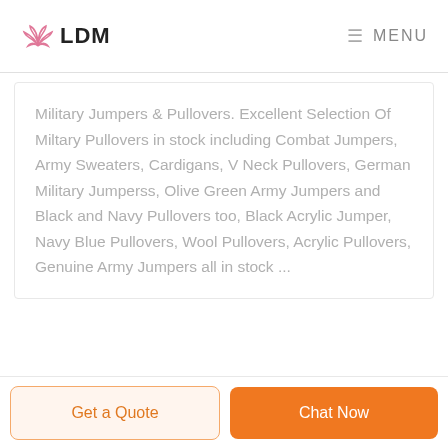LDM  MENU
Military Jumpers & Pullovers. Excellent Selection Of Miltary Pullovers in stock including Combat Jumpers, Army Sweaters, Cardigans, V Neck Pullovers, German Military Jumperss, Olive Green Army Jumpers and Black and Navy Pullovers too, Black Acrylic Jumper, Navy Blue Pullovers, Wool Pullovers, Acrylic Pullovers, Genuine Army Jumpers all in stock ...